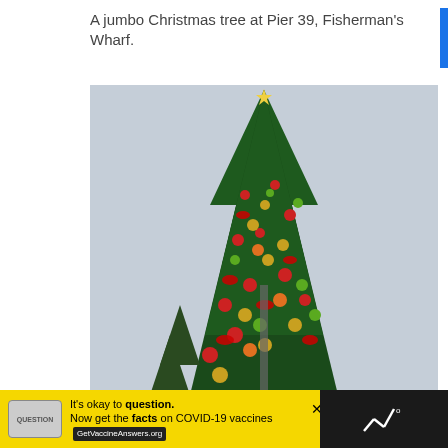A jumbo Christmas tree at Pier 39, Fisherman's Wharf.
[Figure (photo): A large decorated Christmas tree at Pier 39, Fisherman's Wharf, photographed against a grey sky. The tree is adorned with large red, green, gold and orange ornament balls and red ribbon bows. Tree branches of other trees are visible at the bottom left.]
It's okay to question. Now get the facts on COVID-19 vaccines GetVaccineAnswers.org